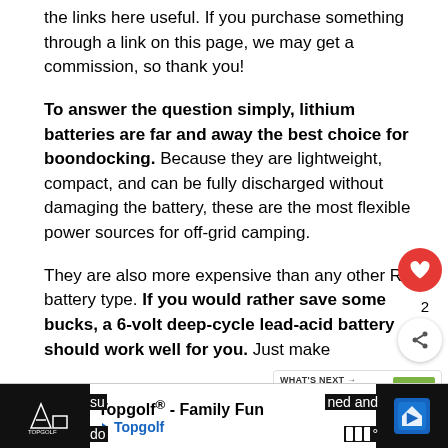the links here useful. If you purchase something through a link on this page, we may get a commission, so thank you!
To answer the question simply, lithium batteries are far and away the best choice for boondocking. Because they are lightweight, compact, and can be fully discharged without damaging the battery, these are the most flexible power sources for off-grid camping.
They are also more expensive than any other RV battery type. If you would rather save some bucks, a 6-volt deep-cycle lead-acid battery should work well for you. Just make su... ned and do... ping the
Topgolf® - Family Fun Topgolf